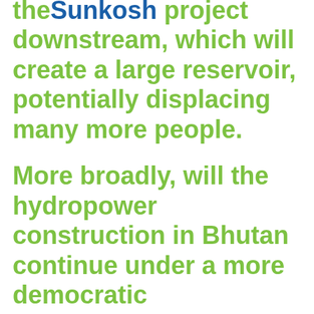the Sunkosh project downstream, which will create a large reservoir, potentially displacing many more people.
More broadly, will the hydropower construction in Bhutan continue under a more democratic government? Large dams and democracy generally don't go well together, as projects – especially those that displace many